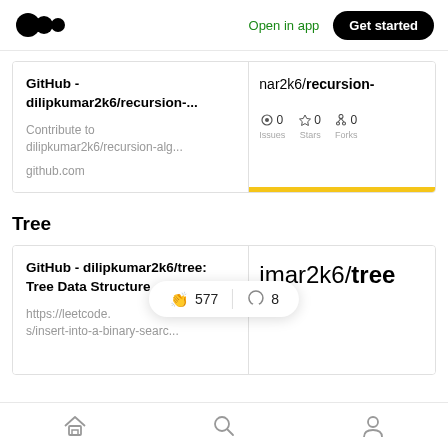Medium logo | Open in app | Get started
[Figure (screenshot): GitHub card for dilipkumar2k6/recursion- showing title, description, github.com URL, and a right panel with har2k6/recursion- text and stats: 0 Issues, 0 Stars, 0 Forks with a yellow bottom bar]
Tree
[Figure (screenshot): GitHub card for dilipkumar2k6/tree: Tree Data Structure with URL https://leetcode.s/insert-into-a-binary-searc... and right panel showing imar2k6/tree in large bold text]
Home | Search | Profile icons